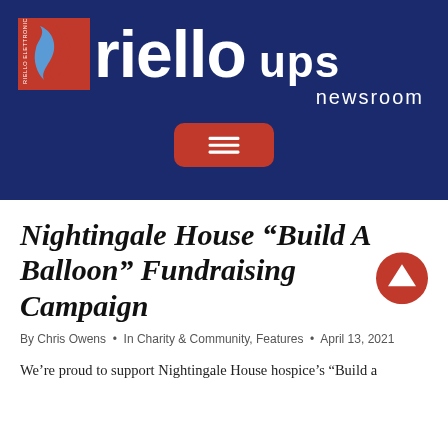[Figure (logo): Riello UPS newsroom logo on dark navy background with hamburger menu button]
Nightingale House “Build A Balloon” Fundraising Campaign
By Chris Owens • In Charity & Community, Features • April 13, 2021
We’re proud to support Nightingale House hospice’s “Build a